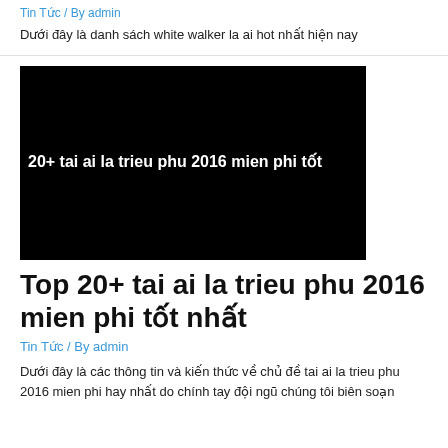Tin Tức / By admin
Dưới đây là danh sách white walker la ai hot nhất hiện nay
[Figure (photo): Black thumbnail image with white text overlay: 20+ tai ai la trieu phu 2016 mien phi tốt]
Top 20+ tai ai la trieu phu 2016 mien phi tốt nhất
Tin Tức / By admin
Dưới đây là các thông tin và kiến thức về chủ đề tai ai la trieu phu 2016 mien phi hay nhất do chính tay đội ngũ chúng tôi biên soạn